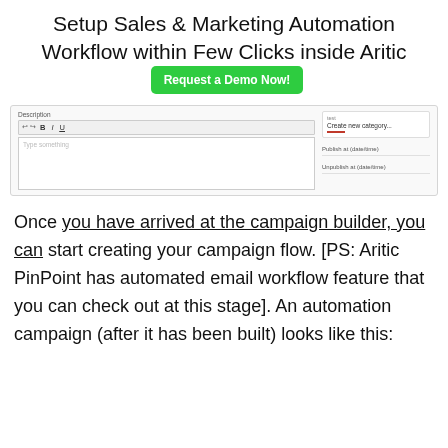Setup Sales & Marketing Automation Workflow within Few Clicks inside Aritic
[Figure (screenshot): Screenshot of a content/campaign editing interface showing a Description text field with formatting toolbar (B, I, U buttons), a text area with placeholder 'Type something', and a right panel with a dropdown showing 'Create new category...', a red underline indicator, a 'Publish at (date/time)' field, and an 'Unpublish at (date/time)' field.]
Once you have arrived at the campaign builder, you can start creating your campaign flow. [PS: Aritic PinPoint has automated email workflow feature that you can check out at this stage]. An automation campaign (after it has been built) looks like this: